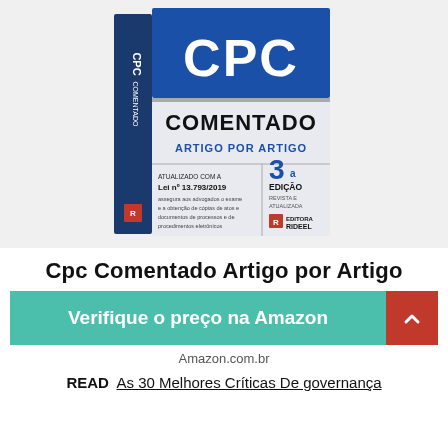[Figure (photo): Book cover of 'CPC Comentado Artigo por Artigo', 3rd edition, published by Editora Rideel, updated with Lei nº 13.793/2019. Blue and white design with 'CPC' in large letters and 'COMENTADO' below.]
Cpc Comentado Artigo por Artigo
Verifique o preço na Amazon
Amazon.com.br
READ  As 30 Melhores Críticas De governança